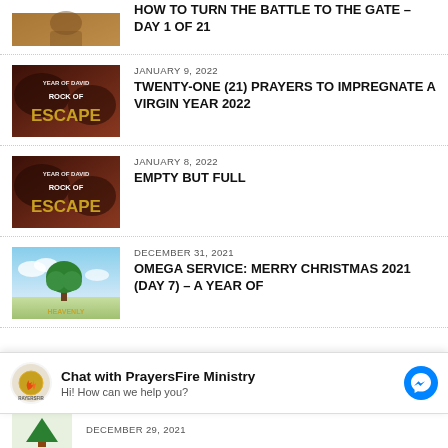HOW TO TURN THE BATTLE TO THE GATE – DAY 1 OF 21
JANUARY 9, 2022
TWENTY-ONE (21) PRAYERS TO IMPREGNATE A VIRGIN YEAR 2022
JANUARY 8, 2022
EMPTY BUT FULL
DECEMBER 31, 2021
OMEGA SERVICE: MERRY CHRISTMAS 2021 (DAY 7) – A YEAR OF
Chat with PrayersFire Ministry
Hi! How can we help you?
DECEMBER 29, 2021